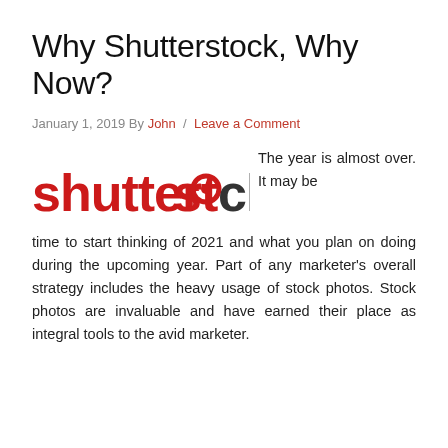Why Shutterstock, Why Now?
January 1, 2019 By John / Leave a Comment
[Figure (logo): Shutterstock logo — 'shutter' in red bold, 'st' with a circular camera lens icon in red, 'ck' in dark gray bold]
The year is almost over. It may be time to start thinking of 2021 and what you plan on doing during the upcoming year. Part of any marketer's overall strategy includes the heavy usage of stock photos. Stock photos are invaluable and have earned their place as integral tools to the avid marketer.